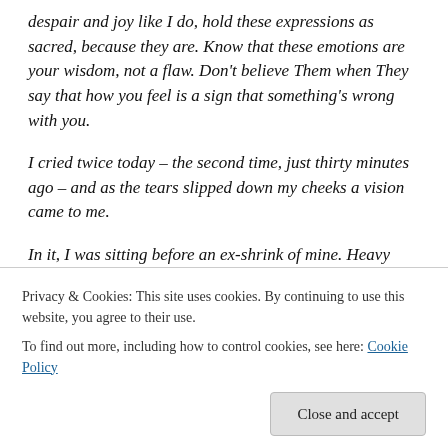despair and joy like I do, hold these expressions as sacred, because they are. Know that these emotions are your wisdom, not a flaw. Don't believe Them when They say that how you feel is a sign that something's wrong with you.
I cried twice today – the second time, just thirty minutes ago – and as the tears slipped down my cheeks a vision came to me.
In it, I was sitting before an ex-shrink of mine. Heavy tears streamed down my face like waterfalls after winter's thaw
same fear I once felt, myself.
Privacy & Cookies: This site uses cookies. By continuing to use this website, you agree to their use.
To find out more, including how to control cookies, see here: Cookie Policy